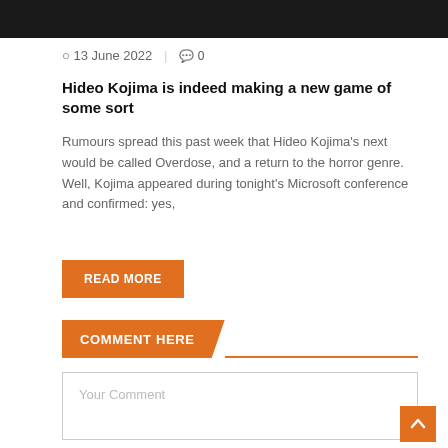[Figure (photo): Dark hero image at top of page]
13 June 2022  |  0
Hideo Kojima is indeed making a new game of some sort
Rumours spread this past week that Hideo Kojima's next would be called Overdose, and a return to the horror genre. Well, Kojima appeared during tonight's Microsoft conference and confirmed: yes,
READ MORE
COMMENT HERE
Your Comment